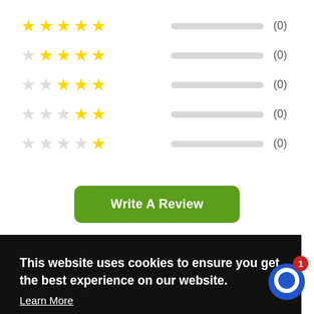[Figure (other): Star rating rows: five rows of 5-star ratings (5-star to 1-star), each with an empty gray progress bar and count (0). Row 1: 5 gold stars. Row 2: 1 empty + 4 gold. Row 3: 2 empty + 3 gold. Row 4: 3 empty + 2 gold. Row 5: 4 empty + 1 gold. All counts show (0).]
Write A Review
This website uses cookies to ensure you get the best experience on our website.
Learn More
Got it!